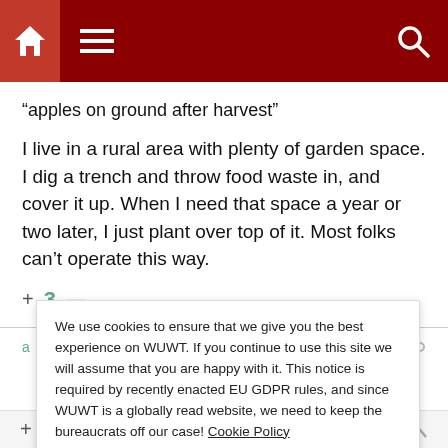WUWT website header with home, menu, and search icons
“apples on ground after harvest”
I live in a rural area with plenty of garden space. I dig a trench and throw food waste in, and cover it up. When I need that space a year or two later, I just plant over top of it. Most folks can’t operate this way.
+ 3 —
asiaseen
We use cookies to ensure that we give you the best experience on WUWT. If you continue to use this site we will assume that you are happy with it. This notice is required by recently enacted EU GDPR rules, and since WUWT is a globally read website, we need to keep the bureaucrats off our case! Cookie Policy
Close and accept
+ 4 —